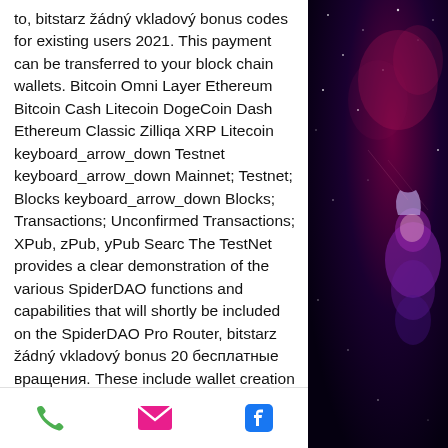to, bitstarz žádný vkladový bonus codes for existing users 2021. This payment can be transferred to your block chain wallets. Bitcoin Omni Layer Ethereum Bitcoin Cash Litecoin DogeCoin Dash Ethereum Classic Zilliqa XRP Litecoin keyboard_arrow_down Testnet keyboard_arrow_down Mainnet; Testnet; Blocks keyboard_arrow_down Blocks; Transactions; Unconfirmed Transactions; XPub, zPub, yPub Searc The TestNet provides a clear demonstration of the various SpiderDAO functions and capabilities that will shortly be included on the SpiderDAO Pro Router, bitstarz žádný vkladový bonus 20 бесплатные вращения. These include wallet creation and management along with that of private and public keys, the governance of proposals and referendums deployed on the DAO, as
[Figure (illustration): Space background with purple/pink nebula and a figure of an astronaut or character on the right side of the page]
Phone | Email | Facebook icons navigation bar